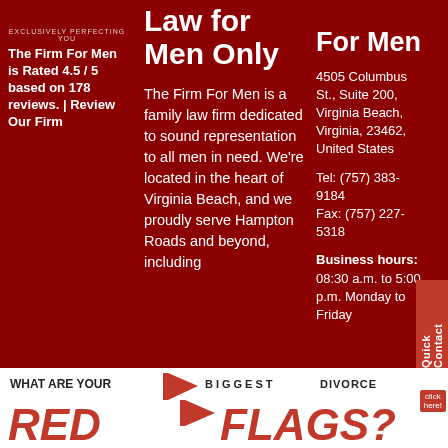EXCLUSIVELY PERFECTING YOU
The Firm For Men is Rated 4.5 / 5 based on 178 reviews. | Review Our Firm
Law for Men Only
The Firm For Men is a family law firm dedicated to sound representation to all men in need. We're located in the heart of Virginia Beach, and we proudly serve Hampton Roads and beyond, including
For Men
4505 Columbus St., Suite 200, Virginia Beach, Virginia, 23462, United States
Tel: (757) 383-9184
Fax: (757) 227-5318
Business hours: 08:30 a.m. to 5:00 p.m. Monday to Friday
[Figure (infographic): Bottom banner: WHAT ARE YOUR BIGGEST DIVORCE RED FLAGS? with red flag graphic]
Quick Contact